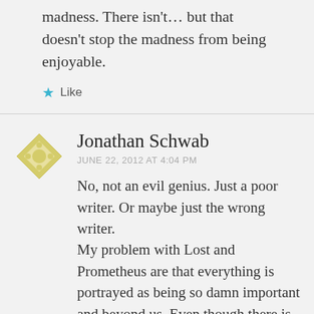madness. There isn't… but that doesn't stop the madness from being enjoyable.
★ Like
Jonathan Schwab
JUNE 22, 2012 AT 4:04 PM
No, not an evil genius. Just a poor writer. Or maybe just the wrong writer. My problem with Lost and Prometheus are that everything is portrayed as being so damn important and beyond us. Even though there is no substance there,